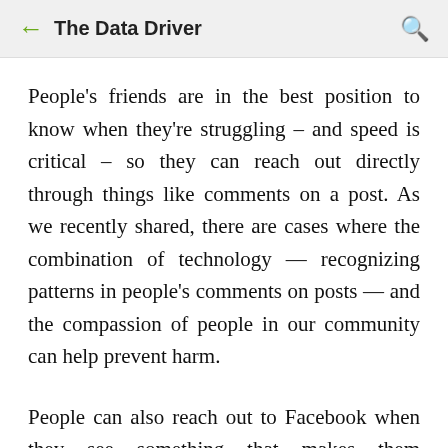The Data Driver
People's friends are in the best position to know when they're struggling – and speed is critical – so they can reach out directly through things like comments on a post. As we recently shared, there are cases where the combination of technology — recognizing patterns in people's comments on posts — and the compassion of people in our community can help prevent harm.
People can also reach out to Facebook when they see something that makes them concerned about a friend's well-being. We do not prevent this